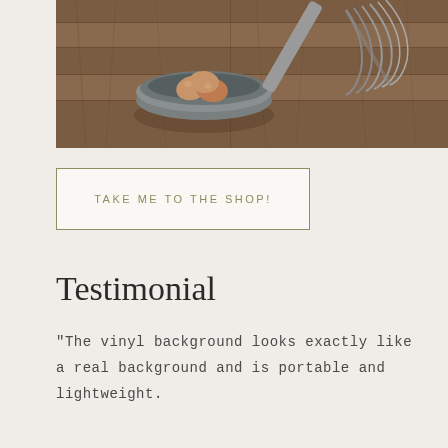[Figure (photo): Overhead view of a wooden table with a ceramic bowl containing three brown eggs and a whisk beside it]
TAKE ME TO THE SHOP!
Testimonial
"The vinyl background looks exactly like a real background and is portable and lightweight.